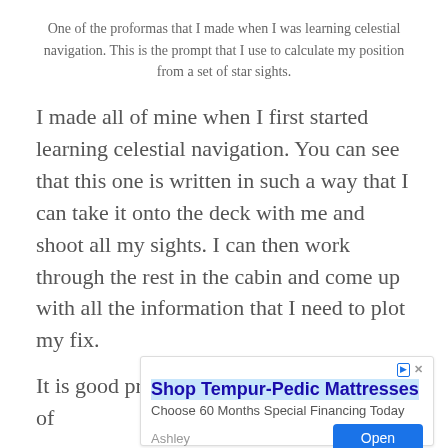One of the proformas that I made when I was learning celestial navigation. This is the prompt that I use to calculate my position from a set of star sights.
I made all of mine when I first started learning celestial navigation. You can see that this one is written in such a way that I can take it onto the deck with me and shoot all my sights. I can then work through the rest in the cabin and come up with all the information that I need to plot my fix.
It is good practice to make your own set of
[Figure (screenshot): Advertisement for Shop Tempur-Pedic Mattresses. Headline: 'Shop Tempur-Pedic Mattresses'. Subtext: 'Choose 60 Months Special Financing Today'. Brand: 'Ashley'. Button: 'Open'. Has ad icon and close (X) button at top right.]